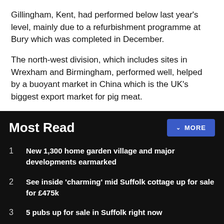Gillingham, Kent, had performed below last year's level, mainly due to a refurbishment programme at Bury which was completed in December.
The north-west division, which includes sites in Wrexham and Birmingham, performed well, helped by a buoyant market in China which is the UK's biggest export market for pig meat.
Most Read
New 1,300 home garden village and major developments earmarked
See inside 'charming' mid Suffolk cottage up for sale for £475k
5 pubs up for sale in Suffolk right now
Receive the top news, sport and things to do, sent to your